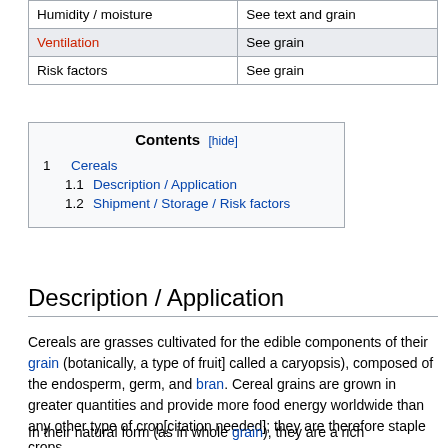|  |  |
| --- | --- |
| Humidity / moisture | See text and grain |
| Ventilation | See grain |
| Risk factors | See grain |
| Contents | [hide] |
| 1 | Cereals |
| 1.1 | Description / Application |
| 1.2 | Shipment / Storage / Risk factors |
Description / Application
Cereals are grasses cultivated for the edible components of their grain (botanically, a type of fruit] called a caryopsis), composed of the endosperm, germ, and bran. Cereal grains are grown in greater quantities and provide more food energy worldwide than any other type of crop[citation needed]; they are therefore staple crops.
In their natural form (as in whole grain), they are a rich